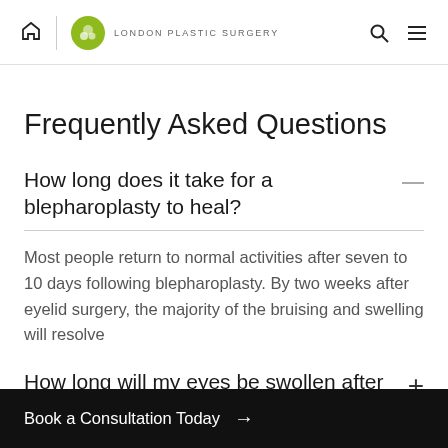London Plastic Surgery
Frequently Asked Questions
How long does it take for a blepharoplasty to heal?
Most people return to normal activities after seven to 10 days following blepharoplasty. By two weeks after eyelid surgery, the majority of the bruising and swelling will resolve
How long will my eyes be swollen after blepharoplasty?
Book a Consultation Today →